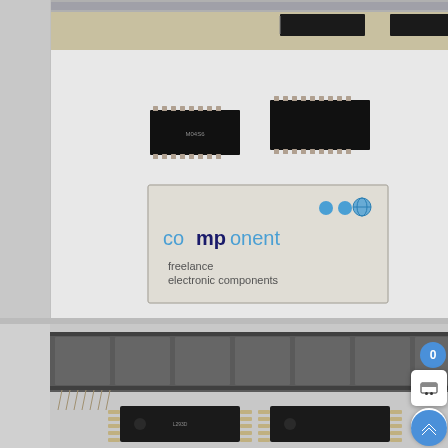[Figure (photo): Top photograph showing SMD integrated circuit chips on a white surface in a component tape/reel, with a 'component - freelance electronic components' logo/label card visible in the center of the image.]
[Figure (photo): Bottom photograph showing DIP (dual inline package) integrated circuit chips in a plastic carrier strip/tray, with multiple ICs visible in rows.]